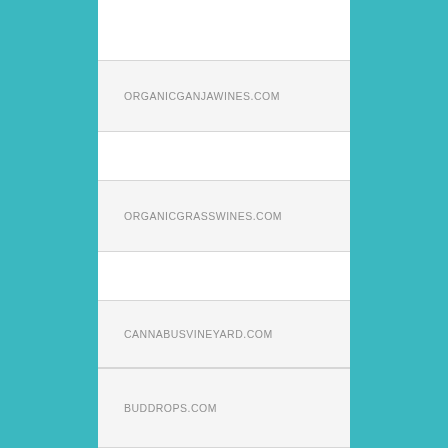ORGANICGANJAWINES.COM
ORGANICGRASSWINES.COM
CANNABUSVINEYARD.COM
BUDDROPS.COM
GANJABEARS.COM
COLORADOLEGALCANDY.COM